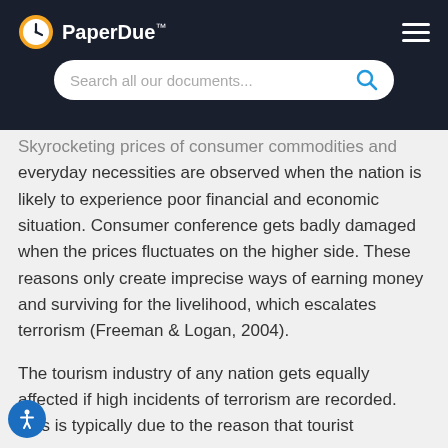PaperDue™
Skyrocketing prices of consumer commodities and everyday necessities are observed when the nation is likely to experience poor financial and economic situation. Consumer conference gets badly damaged when the prices fluctuates on the higher side. These reasons only create imprecise ways of earning money and surviving for the livelihood, which escalates terrorism (Freeman & Logan, 2004).
The tourism industry of any nation gets equally affected if high incidents of terrorism are recorded. This is typically due to the reason that tourist...